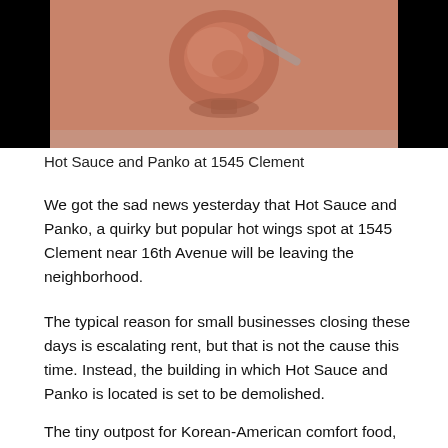[Figure (photo): A photo of a hot sauce bottle or bowl with orange/red sauce, photographed from above on a light surface. Black bars flank the left and right sides of the image.]
Hot Sauce and Panko at 1545 Clement
We got the sad news yesterday that Hot Sauce and Panko, a quirky but popular hot wings spot at 1545 Clement near 16th Avenue will be leaving the neighborhood.
The typical reason for small businesses closing these days is escalating rent, but that is not the cause this time. Instead, the building in which Hot Sauce and Panko is located is set to be demolished.
The tiny outpost for Korean-American comfort food, waffle sandwiches and shelf after shelf of hot sauces posted a letter